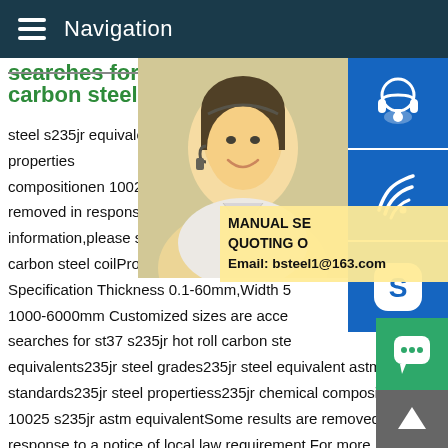Navigation
carbon steel coil
steel s235jr equivalents235jr steel grades235jr equivalent astms235jr standards235jr steel propertiess235jr chemical compositionen 10025 s235jr astm equivalent Some results are removed in response to a notice of local law requirement.For more information,please see here.Previous12345carbon steel coilProduct name St 37 hot rolled carbon steel coil Specification Thickness 0.1-60mm,Width 1000-6000mm Customized sizes are accepted searches for st37 s235jr hot roll carbon steel coil steel s235jr equivalents235jr steel grades235jr steel equivalent astms235jr standards235jr steel propertiess235jr chemical compositionen 10025 s235jr astm equivalentSome results are removed in response to a notice of local law requirement.For more information,please see here.12345NextSt37 hot rolled carbon steel coilProduct name St 37 hot rolled carbon steel coil Specificati
[Figure (photo): Customer service representative woman with headset smiling]
[Figure (infographic): Manual service quoting overlay with email bsteel1@163.com]
[Figure (infographic): Headset icon button blue]
[Figure (infographic): Phone icon button blue]
[Figure (infographic): Skype icon button blue]
[Figure (infographic): Chat bubble icon green button]
[Figure (infographic): Scroll to top arrow button grey]